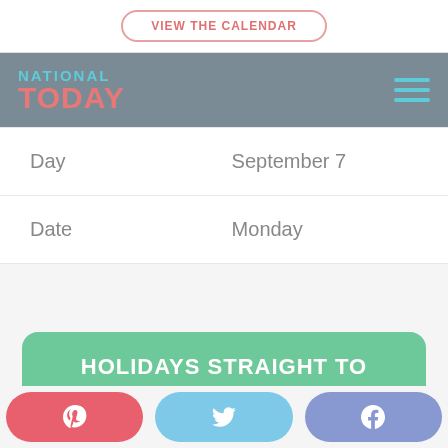VIEW THE CALENDAR
[Figure (logo): National Today logo with NATIONAL in teal and TODAY in coral/red on gray background]
| Day | September 7 |
| Date | Monday |
HOLIDAYS STRAIGHT TO
[Figure (other): Social share buttons: Pinterest (pink), Twitter (light blue), Facebook (blue-purple)]